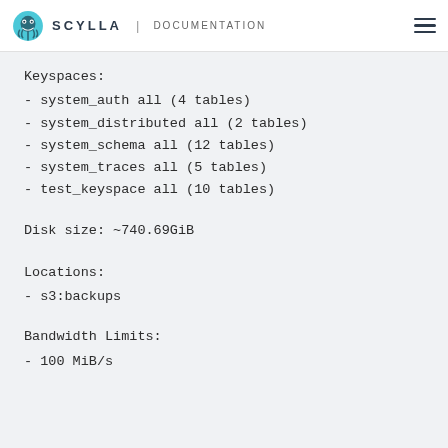SCYLLA | DOCUMENTATION
Keyspaces:
- system_auth all (4 tables)
- system_distributed all (2 tables)
- system_schema all (12 tables)
- system_traces all (5 tables)
- test_keyspace all (10 tables)
Disk size: ~740.69GiB
Locations:
- s3:backups
Bandwidth Limits:
- 100 MiB/s